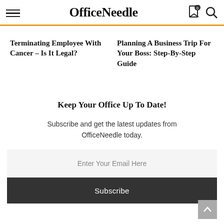OfficeNeedle
Terminating Employee With Cancer – Is It Legal?
Planning A Business Trip For Your Boss: Step-By-Step Guide
Keep Your Office Up To Date!
Subscribe and get the latest updates from OfficeNeedle today.
Enter Your Email Here
Subscribe